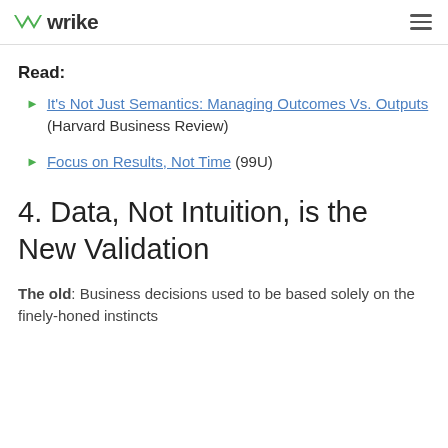wrike
Read:
It's Not Just Semantics: Managing Outcomes Vs. Outputs (Harvard Business Review)
Focus on Results, Not Time (99U)
4. Data, Not Intuition, is the New Validation
The old: Business decisions used to be based solely on the finely-honed instincts